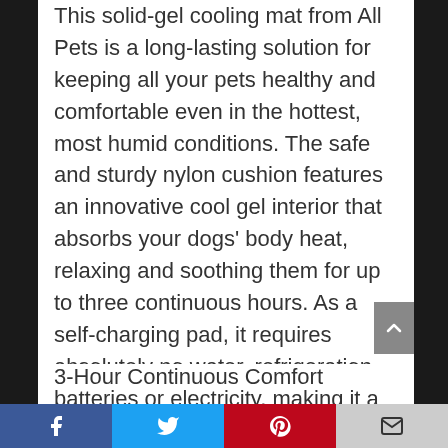This solid-gel cooling mat from All Pets is a long-lasting solution for keeping all your pets healthy and comfortable even in the hottest, most humid conditions. The safe and sturdy nylon cushion features an innovative cool gel interior that absorbs your dogs' body heat, relaxing and soothing them for up to three continuous hours. As a self-charging pad, it requires absolutely no water, refrigeration, batteries or electricity, making it a truly low maintenance option for the home, the kennel, the yard, the car, the RV, and the hotel.
3-Hour Continuous Comfort
Social share bar: Facebook, Twitter, Pinterest, Email